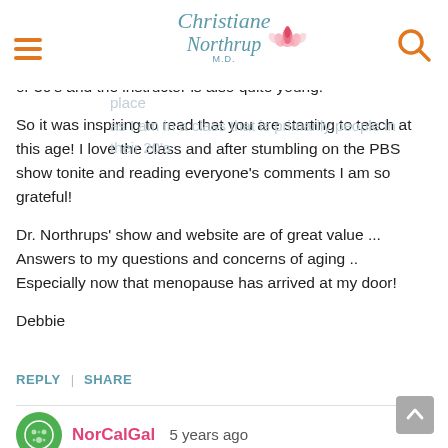Christiane Northrup M.D.
go to a Zumba class twice a week.
Since starting ... so much better ... so many ways. But ... feel a bit out of place as I am in a class that is primarily people in their 20's or 30's and the instructor is also quite young!
So it was inspiring to read that you are starting to teach at this age! I love the class and after stumbling on the PBS show tonite and reading everyone's comments I am so grateful!
Dr. Northrups' show and website are of great value ... Answers to my questions and concerns of aging .. Especially now that menopause has arrived at my door!
Debbie
REPLY | SHARE
NorCalGal   5 years ago